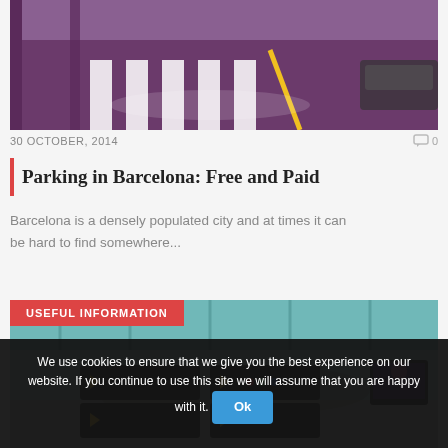[Figure (photo): Parking garage interior with purple-painted floor and yellow/white striped crosswalk markings, concrete pillars, cars visible]
30 OCTOBER, 2014
0
Parking in Barcelona: Free and Paid
Barcelona is a densely populated city and at times it can be hard to find somewhere...
[Figure (photo): Barcelona airport terminal interior with teal/turquoise ceiling, departure signs with arrows, crowds of people, information screens]
USEFUL INFORMATION
We use cookies to ensure that we give you the best experience on our website. If you continue to use this site we will assume that you are happy with it. Ok